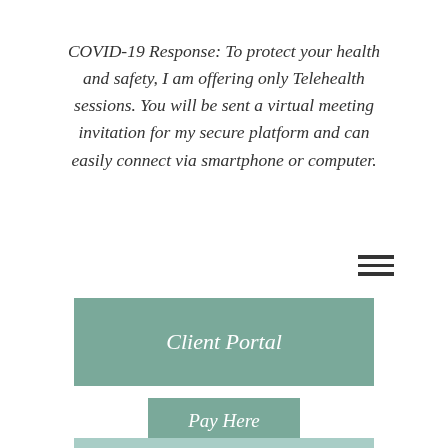COVID-19 Response: To protect your health and safety, I am offering only Telehealth sessions. You will be sent a virtual meeting invitation for my secure platform and can easily connect via smartphone or computer.
[Figure (other): Hamburger menu icon with three horizontal lines]
Client Portal
Pay Here